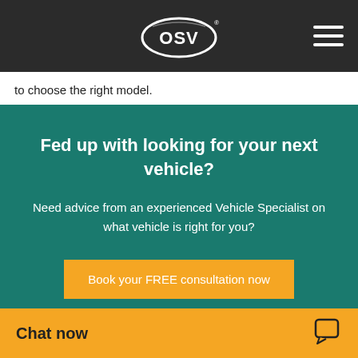OSV logo and navigation
to choose the right model.
Fed up with looking for your next vehicle?
Need advice from an experienced Vehicle Specialist on what vehicle is right for you?
Book your FREE consultation now
Chat now